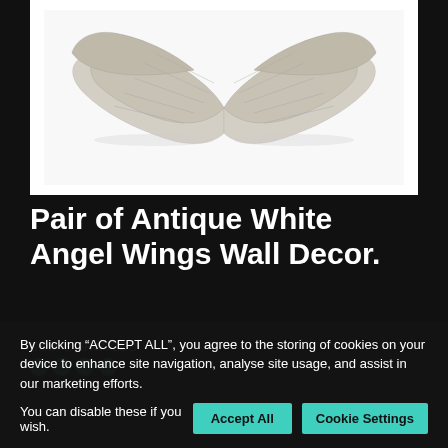[Figure (photo): A pair of antique white angel wings wall decor on a white background, sculpted with feather detail, displayed side by side symmetrically.]
Pair of Antique White Angel Wings Wall Decor.
SKU: ETIHW72DB
By clicking “ACCEPT ALL”, you agree to the storing of cookies on your device to enhance site navigation, analyse site usage, and assist in our marketing efforts. You can disable these if you wish.